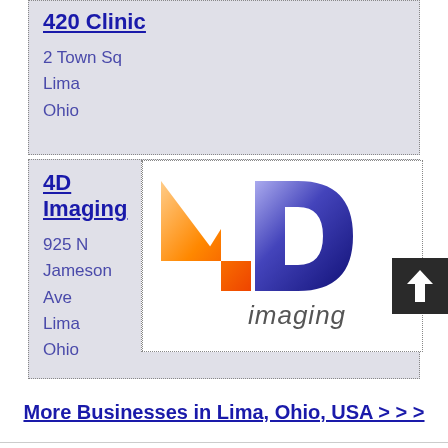420 Clinic
2 Town Sq
Lima
Ohio
4D Imaging
925 N Jameson Ave
Lima
Ohio
[Figure (logo): 4D Imaging logo with orange '4' and purple/blue 'D' and 'imaging' text below]
More Businesses in Lima, Ohio, USA > > >